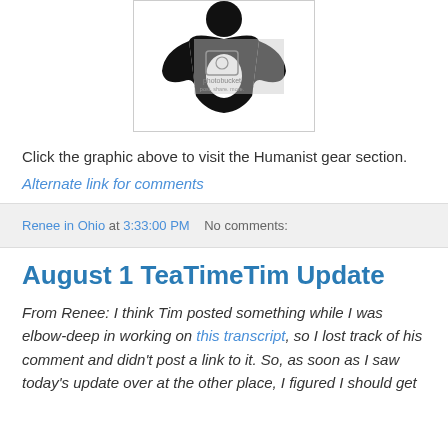[Figure (photo): Black humanist symbol graphic with a photobucket watermark overlay in the center-right]
Click the graphic above to visit the Humanist gear section.
Alternate link for comments
Renee in Ohio at 3:33:00 PM   No comments:
August 1 TeaTimeTim Update
From Renee: I think Tim posted something while I was elbow-deep in working on this transcript, so I lost track of his comment and didn't post a link to it. So, as soon as I saw today's update over at the other place, I figured I should get